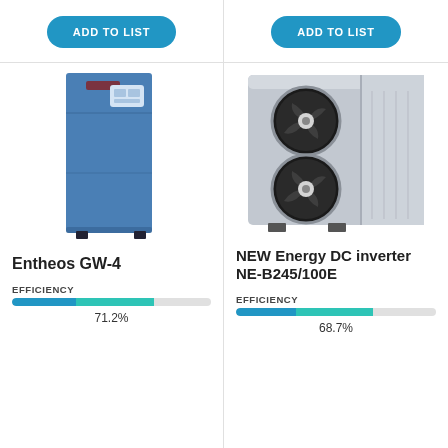[Figure (other): Blue pill-shaped ADD TO LIST button, left column]
[Figure (other): Blue pill-shaped ADD TO LIST button, right column]
[Figure (photo): Entheos GW-4 ground source heat pump — tall narrow blue unit with control panel]
[Figure (photo): NEW Energy DC inverter NE-B245/100E — large grey air-source heat pump outdoor unit with two circular fans]
Entheos GW-4
NEW Energy DC inverter NE-B245/100E
EFFICIENCY
EFFICIENCY
71.2%
68.7%